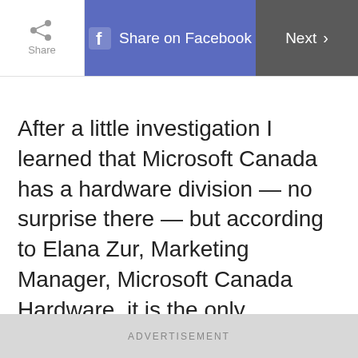Share   Share on Facebook   Next
After a little investigation I learned that Microsoft Canada has a hardware division — no surprise there — but according to Elana Zur, Marketing Manager, Microsoft Canada Hardware, it is the only hardware manufacturer employing full-time ergonomists — experts who actually study the relationship between people and their working environment as it pertains to comfort and safety. For you and me that means hardware is designed as much for comfort as it is for function.
ADVERTISEMENT